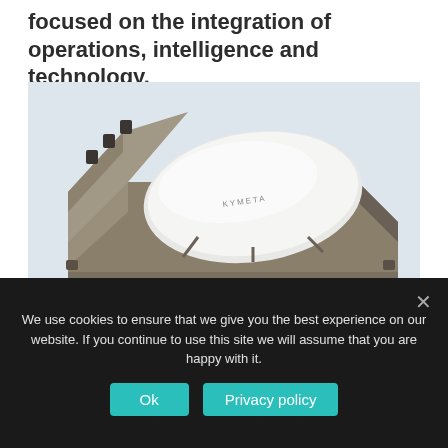focused on the integration of operations, intelligence and technology.
[Figure (photo): Kymeta u8 satellite terminal device in an open carrying/mounting case. The terminal has a white oval flat-panel antenna mounted on a tan/khaki-colored rugged transit case.]
Kymeta's u8 terminal.
We use cookies to ensure that we give you the best experience on our website. If you continue to use this site we will assume that you are happy with it.